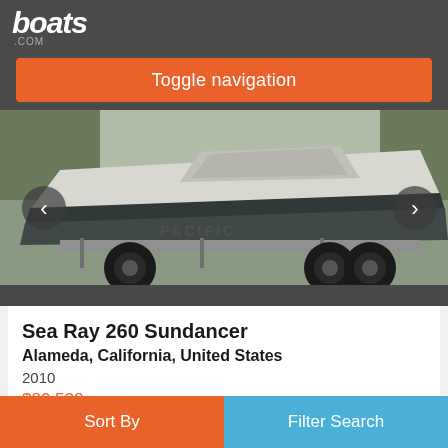boats.com
Toggle navigation
[Figure (photo): A Sea Ray 260 Sundancer boat on a trailer in a parking lot, shown from the side. The boat is white with a dark hull, mounted on a black-wheeled trailer branded 'PACIFIC'. Trees visible in background.]
Sea Ray 260 Sundancer
Alameda, California, United States
2010
$80,528
Private Seller
Sort By  Filter Search